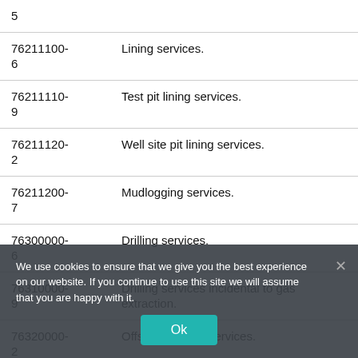| Code | Description |
| --- | --- |
| 5 |  |
| 76211100-6 | Lining services. |
| 76211110-9 | Test pit lining services. |
| 76211120-2 | Well site pit lining services. |
| 76211200-7 | Mudlogging services. |
| 76300000-6 | Drilling services. |
| 76310000-9 | Drilling services incidental to gas extraction. |
| 76320000-2 | Offshore drilling services. |
We use cookies to ensure that we give you the best experience on our website. If you continue to use this site we will assume that you are happy with it.